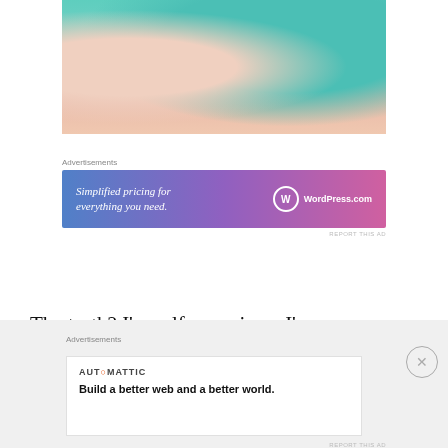[Figure (photo): Close-up photo of a baby in teal/mint green clothing, with skin tones and striped fabric visible]
Advertisements
[Figure (other): WordPress.com advertisement banner with gradient blue-to-pink background. Text reads: 'Simplified pricing for everything you need.' with WordPress.com logo]
REPORT THIS AD
The truth? I'm self-conscious. I'm uncomfortable. After publicly embracing Weight Watchers and documenting
Advertisements
[Figure (other): Automattic advertisement. 'AUTOMATTIC' brand name with tagline: 'Build a better web and a better world.']
REPORT THIS AD